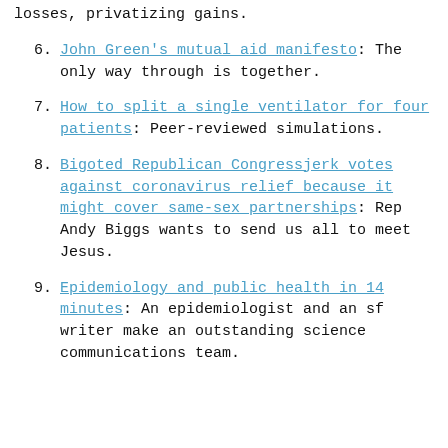losses, privatizing gains.
6. John Green's mutual aid manifesto: The only way through is together.
7. How to split a single ventilator for four patients: Peer-reviewed simulations.
8. Bigoted Republican Congressjerk votes against coronavirus relief because it might cover same-sex partnerships: Rep Andy Biggs wants to send us all to meet Jesus.
9. Epidemiology and public health in 14 minutes: An epidemiologist and an sf writer make an outstanding science communications team.